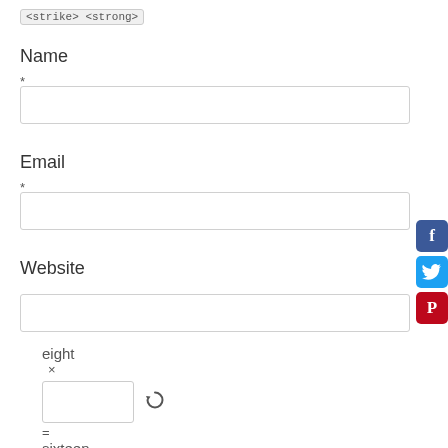<strike> <strong>
Name
*
Email
*
Website
eight
x
= sixteen